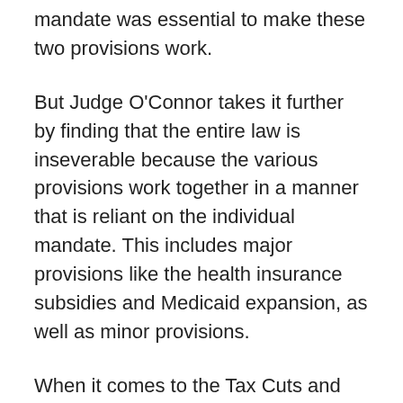mandate was essential to make these two provisions work.
But Judge O'Connor takes it further by finding that the entire law is inseverable because the various provisions work together in a manner that is reliant on the individual mandate. This includes major provisions like the health insurance subsidies and Medicaid expansion, as well as minor provisions.
When it comes to the Tax Cuts and Jobs Act, Judge O'Connor explains that Congress didn't outright repeal the individual mandate, although it eliminated the penalty, or 42 U.S.C. 18091, which noted the importance of the individual mandate. The defendant, which is the State of California, argued that severability was intended by Congress because, according to the...